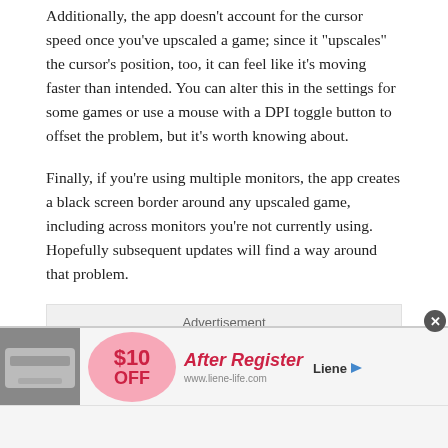Additionally, the app doesn't account for the cursor speed once you've upscaled a game; since it "upscales" the cursor's position, too, it can feel like it's moving faster than intended. You can alter this in the settings for some games or use a mouse with a DPI toggle button to offset the problem, but it's worth knowing about.
Finally, if you're using multiple monitors, the app creates a black screen border around any upscaled game, including across monitors you're not currently using. Hopefully subsequent updates will find a way around that problem.
[Figure (other): Advertisement placeholder box with label 'Advertisement']
[Figure (other): Banner advertisement showing a product image on left, a pink circle with '$10 OFF' text, 'After Register' text in italic red, a brand URL, and 'Liene' logo with play button icon. A close button (X) appears in the upper right corner.]